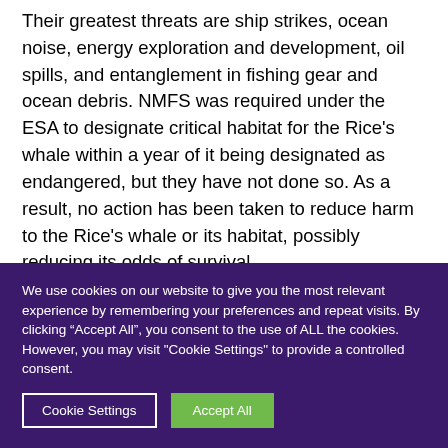Their greatest threats are ship strikes, ocean noise, energy exploration and development, oil spills, and entanglement in fishing gear and ocean debris. NMFS was required under the ESA to designate critical habitat for the Rice's whale within a year of it being designated as endangered, but they have not done so. As a result, no action has been taken to reduce harm to the Rice's whale or its habitat, possibly reducing its odds of survival.
We use cookies on our website to give you the most relevant experience by remembering your preferences and repeat visits. By clicking "Accept All", you consent to the use of ALL the cookies. However, you may visit "Cookie Settings" to provide a controlled consent.